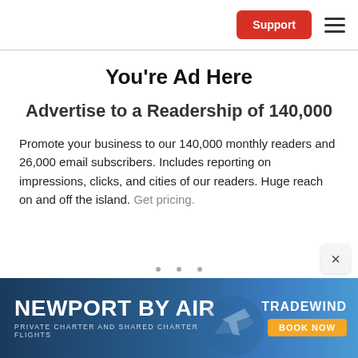Support [button] ≡ [menu]
You're Ad Here
Advertise to a Readership of 140,000
Promote your business to our 140,000 monthly readers and 26,000 email subscribers. Includes reporting on impressions, clicks, and cities of our readers. Huge reach on and off the island. Get pricing.
[Figure (infographic): Advertisement banner for Newport By Air - Private Charter and Shared Charter Flights by Tradewind with a Book Now button and aerial photo of Newport]
NEWPORT BY AIR · PRIVATE CHARTER AND SHARED CHARTER FLIGHTS · TRADEWIND · BOOK NOW